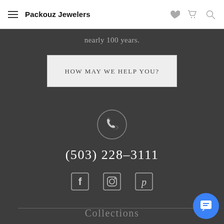Packouz Jewelers
nearly 100 years.
HOW MAY WE HELP YOU?
[Figure (illustration): Phone handset icon inside a circle]
(503) 228-3111
[Figure (illustration): Social media icons: Facebook, Instagram, Pinterest]
Collections